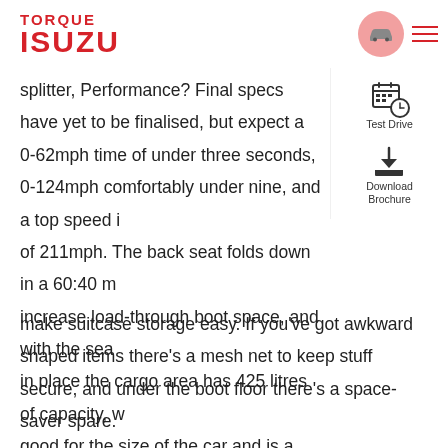TORQUE ISUZU
[Figure (logo): Torque Isuzu logo in red with car icon circle and hamburger menu]
splitter, Performance? Final specs have yet to be finalised, but expect a 0-62mph time of under three seconds, 0-124mph comfortably under nine, and a top speed in excess of 211mph. The back seat folds down in a 60:40 manner to increase load-through boot space, and with the seats in place the cargo area has 425 litres of capacity, which is good for the size of the car and is a squared-off shape to make suitcase storage easy. If you've got awkward shaped items there's a mesh net to keep stuff secure, and under the boot floor there's a space-saver spare.